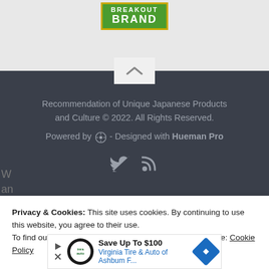[Figure (logo): Breakout Brand logo: green rectangle with gold border, white bold text reading BREAKOUT BRAND]
[Figure (other): Scroll-to-top chevron button, light gray background]
Recommendation of Unique Japanese Products and Culture © 2022. All Rights Reserved.
Powered by WordPress - Designed with Hueman Pro
[Figure (other): Twitter and RSS feed icons in gray]
Privacy & Cookies: This site uses cookies. By continuing to use this website, you agree to their use.
To find out more, including how to control cookies, see here: Cookie Policy
Save Up To $100
Virginia Tire & Auto of Ashbum F...